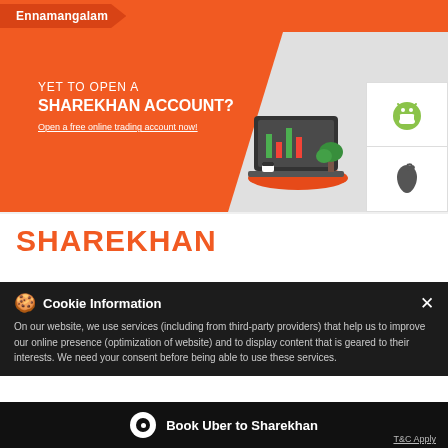Ennamangalam
[Figure (infographic): Sharekhan banner with orange background, text 'YET TO OPEN A SHAREKHAN ACCOUNT? Open a free online trading account now!' and laptop illustration on the right side. Android and iOS app store icons on the far right.]
SHAREKHAN
This location is closed. Please visit Nearby Locations
Cookie Information
On our website, we use services (including from third-party providers) that help us to improve our online presence (optimization of website) and to display content that is geared to their interests. We need your consent before being able to use these services.
Permanently Closed
Book Uber to Sharekhan
T&C Apply